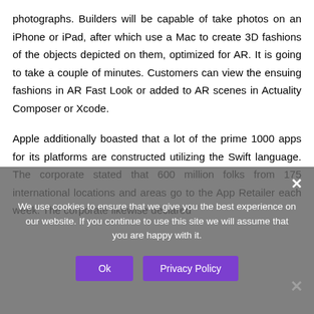photographs. Builders will be capable of take photos on an iPhone or iPad, after which use a Mac to create 3D fashions of the objects depicted on them, optimized for AR. It is going to take a couple of minutes. Customers can view the ensuing fashions in AR Fast Look or added to AR scenes in Actuality Composer or Xcode.
Apple additionally boasted that a lot of the prime 1000 apps for its platforms are constructed utilizing the Swift language. The corporate stated that 600 million folks from 175 international locations and areas go to the App Retailer each week. The corporate likewise declared...
We use cookies to ensure that we give you the best experience on our website. If you continue to use this site we will assume that you are happy with it.